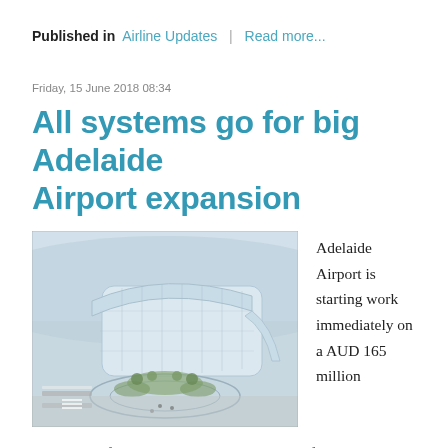Published in  Airline Updates  |  Read more...
Friday, 15 June 2018 08:34
All systems go for big Adelaide Airport expansion
[Figure (illustration): Aerial architectural rendering of Adelaide Airport terminal expansion showing a modern curved glass and steel terminal building with landscaped areas and roadways.]
Adelaide Airport is starting work immediately on a AUD 165 million
expansion of its main terminal that will significantly upgrade